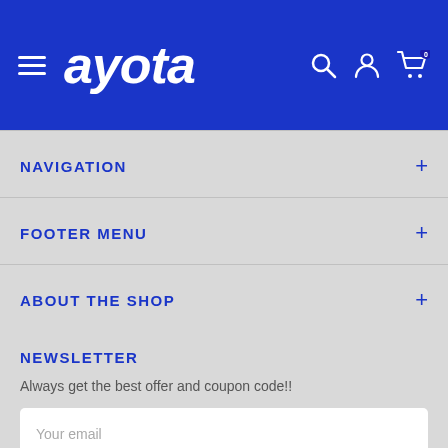ayota
NAVIGATION
FOOTER MENU
ABOUT THE SHOP
NEWSLETTER
Always get the best offer and coupon code!!
Your email